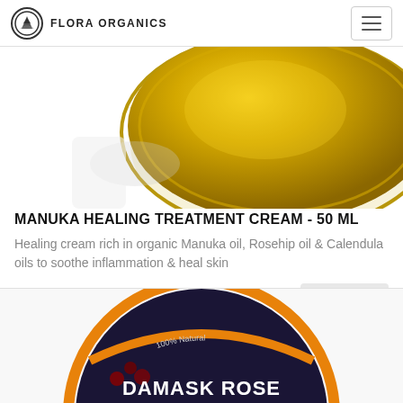FLORA ORGANICS
[Figure (photo): Top-down view of a gold metallic cream tin lid on white background]
MANUKA HEALING TREATMENT CREAM - 50 ML
Healing cream rich in organic Manuka oil, Rosehip oil & Calendula oils to soothe inflammation & heal skin
$14.70 NZD
Sold Out
[Figure (photo): Top-down view of a dark navy/black circular cream tin with orange border, labeled 'DAMASK ROSE & NEROLI', '100% Natural' with floral botanical illustration]